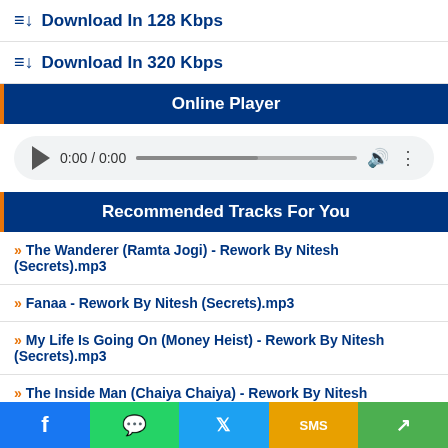Download In 128 Kbps
Download In 320 Kbps
Online Player
[Figure (other): Audio player with play button, time display 0:00 / 0:00, progress bar, volume and more options icons]
Recommended Tracks For You
» The Wanderer (Ramta Jogi) - Rework By Nitesh (Secrets).mp3
» Fanaa - Rework By Nitesh (Secrets).mp3
» My Life Is Going On (Money Heist) - Rework By Nitesh (Secrets).mp3
» The Inside Man (Chaiya Chaiya) - Rework By Nitesh (Secrets).mp3
» Angel Eyes Vs You Remind Me - Mashup By Nitesh (Secrets).mp3
» Laung Gawacha Vs A Different Way - Mashup By Nitesh (Secrets).mp3
Your Feedback About This Song
[Figure (other): Social sharing buttons: Facebook, WhatsApp, Twitter, SMS, Share]